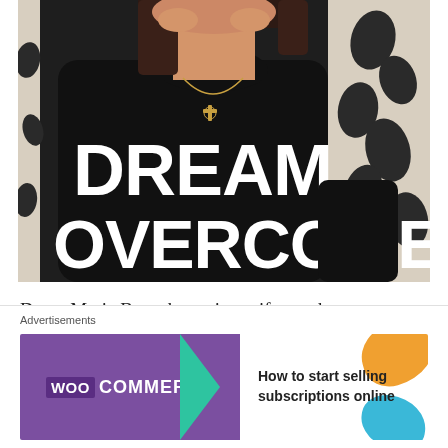[Figure (photo): A woman wearing a black t-shirt with 'DREAM. OVERCOME' text, gold cross necklace, sitting in front of a floral-patterned background]
Dawn Marie Beauchamp is a wife, mother, business owner, and writer. You can find more thoughts on life, faith...
Advertisements
[Figure (other): WooCommerce advertisement banner: WOO COMMERCE logo with teal arrow on purple background, text 'How to start selling subscriptions online', orange and blue decorative shapes]